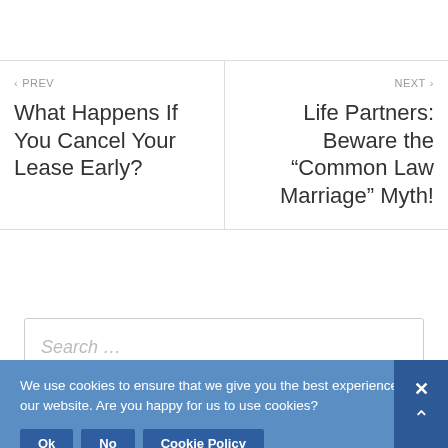< PREV
What Happens If You Cancel Your Lease Early?
NEXT >
Life Partners: Beware the “Common Law Marriage” Myth!
Search …
Recent Industry Articles
We use cookies to ensure that we give you the best experience on our website. Are you happy for us to use cookies?
Ok   No   Cookie Policy